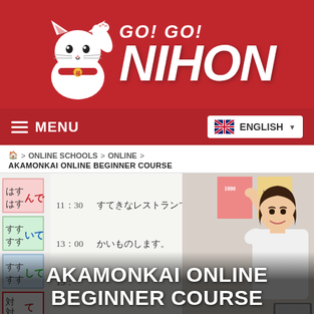[Figure (logo): Go! Go! Nihon logo with maneki-neko lucky cat on red background, white text reading GO! GO! NIHON]
≡ MENU   ENGLISH
🏠 > ONLINE SCHOOLS > ONLINE > AKAMONKAI ONLINE BEGINNER COURSE
[Figure (photo): A teacher pointing at a whiteboard with Japanese writing. Text overlay reads: AKAMONKAI ONLINE BEGINNER COURSE]
AKAMONKAI ONLINE BEGINNER COURSE